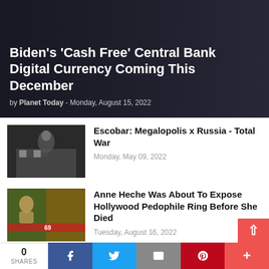[Figure (photo): Hero banner with dark overlay, politicians in background]
Biden's 'Cash Free' Central Bank Digital Currency Coming This December
by Planet Today - Monday, August 15, 2022
[Figure (photo): Black and white photo of man at chess board]
Escobar: Megalopolis x Russia - Total War
Monday, May 09, 2022
[Figure (photo): Photo of blonde woman, Anne Heche]
Anne Heche Was About To Expose Hollywood Pedophile Ring Before She Died
Tuesday, August 16, 2022
[Figure (photo): Gray sky photo with UFO disk shape]
UK Gov't Release 'Most Spectacular UFO Photo Ever Captured'
Saturday, August 13, 2022
0 SHARES | Facebook | Twitter | Email | Pinterest | More